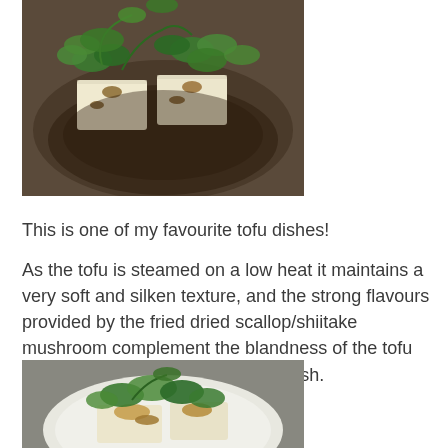[Figure (photo): A plate with steamed tofu blocks garnished with green herbs/cilantro and fried scallop or shiitake mushrooms, in a dark bowl with broth.]
This is one of my favourite tofu dishes!
As the tofu is steamed on a low heat it maintains a very soft and silken texture, and the strong flavours provided by the fried dried scallop/shiitake mushroom complement the blandness of the tofu making it a very delicious tasting dish.
[Figure (photo): A white plate with steamed tofu topped with vegetables and fried dried scallop/shiitake mushrooms, on a grey background.]